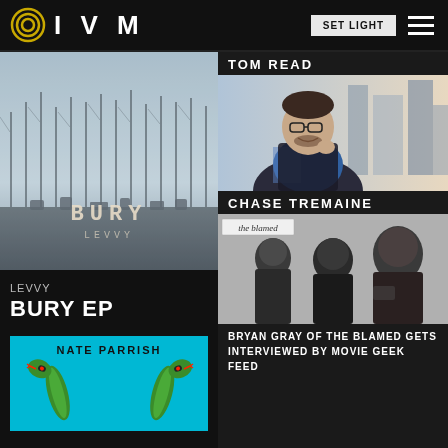IVM | SET LIGHT
[Figure (photo): LEVVY - BURY EP album cover: misty forest/cemetery scene with BURY LEVVY text overlay]
LEVVY
BURY EP
[Figure (photo): Nate Parrish album cover: cyan background with two facing snakes illustration]
TOM READ
[Figure (photo): Tom Read: smiling young man with glasses and beard in urban setting]
CHASE TREMAINE
[Figure (photo): The Blamed: black and white photo of band members with 'the blamed' label overlay]
BRYAN GRAY OF THE BLAMED GETS INTERVIEWED BY MOVIE GEEK FEED